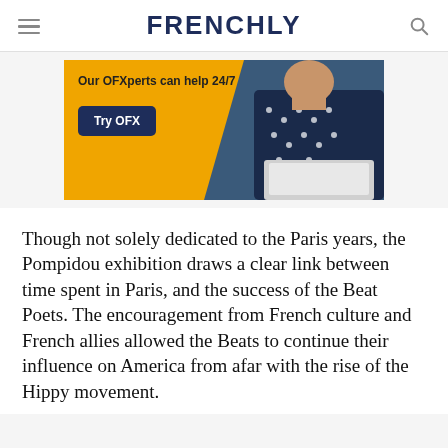FRENCHLY
[Figure (photo): Advertisement banner for OFX with orange background, text 'Our OFXperts can help 24/7', a dark navy 'Try OFX' button, and a woman in a polka dot blouse working on a laptop.]
Though not solely dedicated to the Paris years, the Pompidou exhibition draws a clear link between time spent in Paris, and the success of the Beat Poets. The encouragement from French culture and French allies allowed the Beats to continue their influence on America from afar with the rise of the Hippy movement.